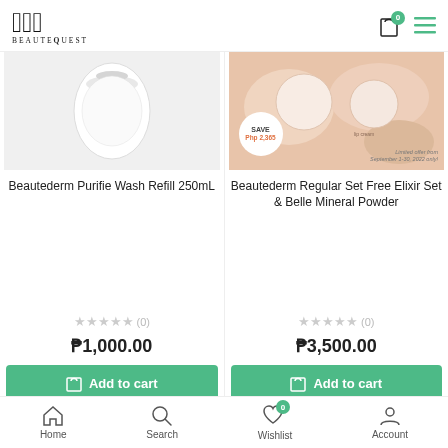BeauteQuest — logo, cart (0), menu
[Figure (photo): Beautederm Purifie Wash Refill 250mL product image (white container on light background)]
[Figure (photo): Beautederm Regular Set Free Elixir Set & Belle Mineral Powder product image with SAVE Php 2,365 badge and Limited offer from September 1-30, 2022 only text]
Beautederm Purifie Wash Refill 250mL
Beautederm Regular Set Free Elixir Set & Belle Mineral Powder
★★★★★ (0)
★★★★★ (0)
₱1,000.00
₱3,500.00
Add to cart
Add to cart
[Figure (photo): Beautederm BUY REGULAR SET (UPGRADED TONER, Good for 2 months of use) FREE NOW promotional banner (pink/lavender background with orange circle)]
Home | Search | Wishlist (0) | Account